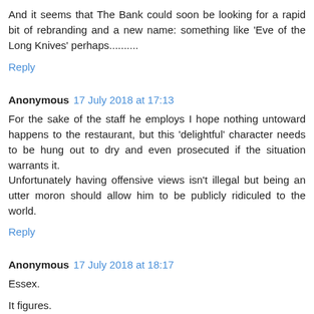And it seems that The Bank could soon be looking for a rapid bit of rebranding and a new name: something like 'Eve of the Long Knives' perhaps..........
Reply
Anonymous 17 July 2018 at 17:13
For the sake of the staff he employs I hope nothing untoward happens to the restaurant, but this 'delightful' character needs to be hung out to dry and even prosecuted if the situation warrants it.
Unfortunately having offensive views isn't illegal but being an utter moron should allow him to be publicly ridiculed to the world.
Reply
Anonymous 17 July 2018 at 18:17
Essex.
It figures.